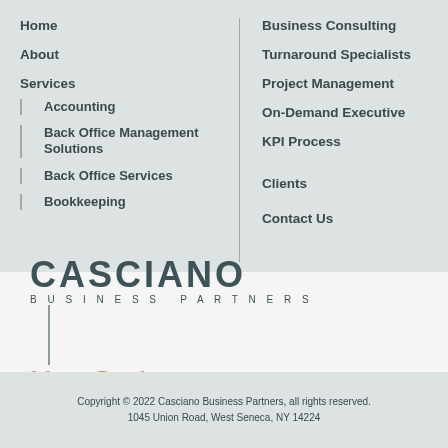Home
About
Services
Accounting
Back Office Management Solutions
Back Office Services
Bookkeeping
Business Consulting
Turnaround Specialists
Project Management
On-Demand Executive
KPI Process
Clients
Contact Us
[Figure (logo): Casciano Business Partners logo with tagline 'We are Results']
Copyright © 2022 Casciano Business Partners, all rights reserved.
1045 Union Road, West Seneca, NY 14224